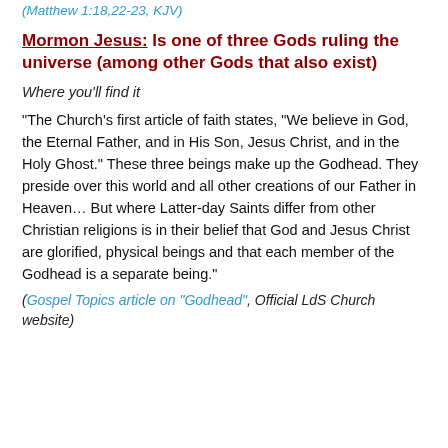(Matthew 1:18,22-23, KJV)
Mormon Jesus: Is one of three Gods ruling the universe (among other Gods that also exist)
Where you'll find it
“The Church’s first article of faith states, “We believe in God, the Eternal Father, and in His Son, Jesus Christ, and in the Holy Ghost.” These three beings make up the Godhead. They preside over this world and all other creations of our Father in Heaven… But where Latter-day Saints differ from other Christian religions is in their belief that God and Jesus Christ are glorified, physical beings and that each member of the Godhead is a separate being.”
(Gospel Topics article on “Godhead”, Official LdS Church website)